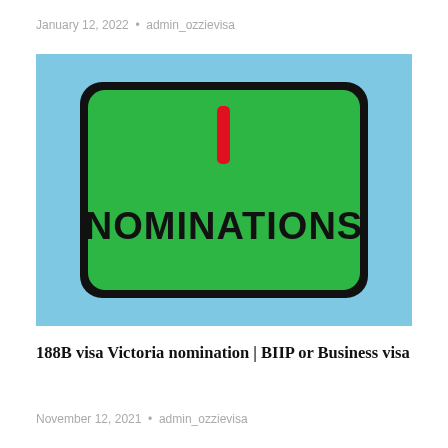January 12, 2022  •  admin_ozzievisa
[Figure (illustration): Light blue background with a large green rounded rectangle card in the center. Inside the green card is a red vertical bar/line near the top center, and below it bold black text reading 'NOMINATIONS'. The green card has a thick black border with rounded corners.]
188B visa Victoria nomination | BIIP or Business visa
November 12, 2021  •  admin_ozzievisa